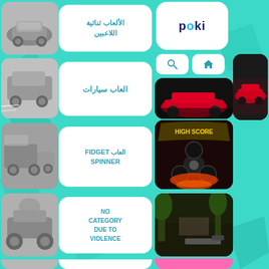[Figure (screenshot): Poki games website screenshot showing Arabic game categories including two-player games, car games, fidget spinner games, and a no-category due to violence entry, with game thumbnails on left and right sides]
الألعاب ثنائية اللاعبين
العاب سيارات
العاب FIDGET SPINNER
NO CATEGORY DUE TO VIOLENCE